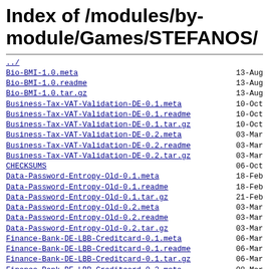Index of /modules/by-module/Games/STEFANOS/
../
Bio-BMI-1.0.meta	13-Aug
Bio-BMI-1.0.readme	13-Aug
Bio-BMI-1.0.tar.gz	13-Aug
Business-Tax-VAT-Validation-DE-0.1.meta	10-Oct
Business-Tax-VAT-Validation-DE-0.1.readme	10-Oct
Business-Tax-VAT-Validation-DE-0.1.tar.gz	10-Oct
Business-Tax-VAT-Validation-DE-0.2.meta	03-Mar
Business-Tax-VAT-Validation-DE-0.2.readme	03-Mar
Business-Tax-VAT-Validation-DE-0.2.tar.gz	03-Mar
CHECKSUMS	06-Oct
Data-Password-Entropy-Old-0.1.meta	18-Feb
Data-Password-Entropy-Old-0.1.readme	18-Feb
Data-Password-Entropy-Old-0.1.tar.gz	21-Feb
Data-Password-Entropy-Old-0.2.meta	03-Mar
Data-Password-Entropy-Old-0.2.readme	03-Mar
Data-Password-Entropy-Old-0.2.tar.gz	03-Mar
Finance-Bank-DE-LBB-Creditcard-0.1.meta	06-Mar
Finance-Bank-DE-LBB-Creditcard-0.1.readme	06-Mar
Finance-Bank-DE-LBB-Creditcard-0.1.tar.gz	06-Mar
Finance-Bank-DE-LBB-Creditcard-0.2.meta	08-Mar
Finance-Bank-DE-LBB-Creditcard-0.2.readme	06-Mar